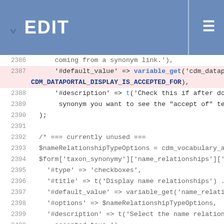EDIT
[Figure (screenshot): Code editor screenshot showing PHP code lines 2386-2410 with syntax highlighting. Lines show form configuration for taxon synonymy module including variable_get calls, array definitions for taxon_relations fieldset with FALSE values for collapsible and collapsed.]